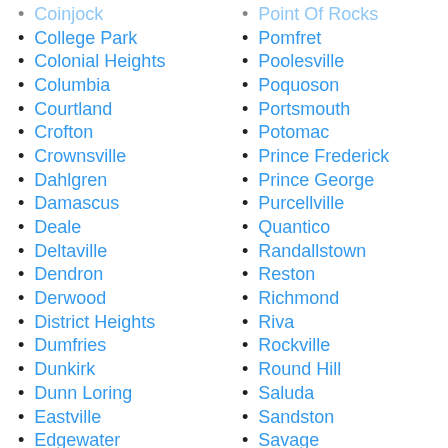Coinjock
College Park
Colonial Heights
Columbia
Courtland
Crofton
Crownsville
Dahlgren
Damascus
Deale
Deltaville
Dendron
Derwood
District Heights
Dumfries
Dunkirk
Dunn Loring
Eastville
Edgewater
Elizabeth City
Point Of Rocks
Pomfret
Poolesville
Poquoson
Portsmouth
Potomac
Prince Frederick
Prince George
Purcellville
Quantico
Randallstown
Reston
Richmond
Riva
Rockville
Round Hill
Saluda
Sandston
Savage
Selby-on-the-Bay